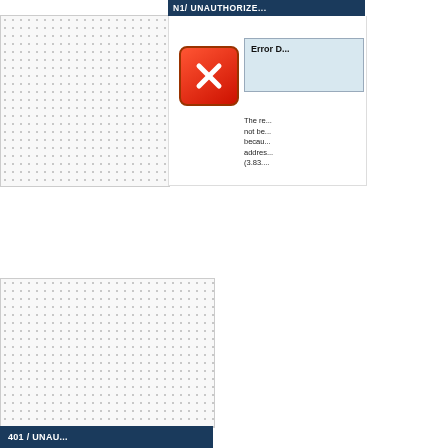[Figure (screenshot): Partial screenshot of a browser error page showing '401 / UNAUTHORIZED' heading in a dark blue nav bar, a red X error icon, a light blue 'Error D...' dialog box, and body text starting with 'The re... not be... becau... addres... (3.83...' — the right side is cut off]
[Figure (screenshot): Partial screenshot of a browser page with a dotted/grid background pattern and a dark blue bar at the bottom showing '401 / UNAU...' — content is cropped on the right]